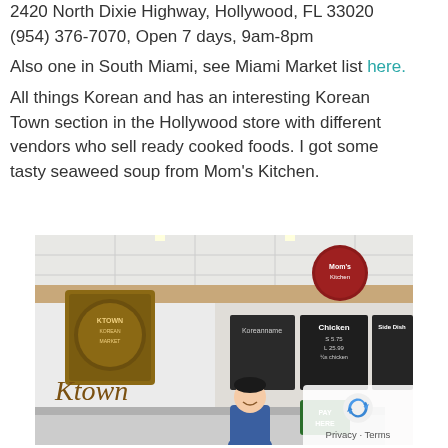2420 North Dixie Highway, Hollywood, FL 33020 (954) 376-7070, Open 7 days, 9am-8pm
Also one in South Miami, see Miami Market list here.
All things Korean and has an interesting Korean Town section in the Hollywood store with different vendors who sell ready cooked foods. I got some tasty seaweed soup from Mom's Kitchen.
[Figure (photo): Interior photo of a Korean market showing a 'Ktown' sign on the wall, menu chalkboards, a Mom's Kitchen circular sign, and a person standing at the counter with a 'PAY HERE' sign.]